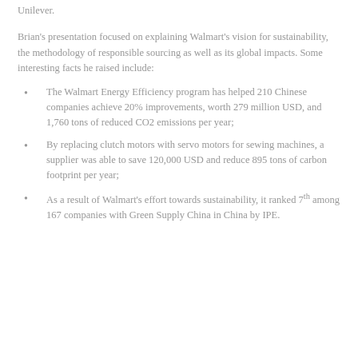Unilever.
Brian's presentation focused on explaining Walmart's vision for sustainability, the methodology of responsible sourcing as well as its global impacts. Some interesting facts he raised include:
The Walmart Energy Efficiency program has helped 210 Chinese companies achieve 20% improvements, worth 279 million USD, and 1,760 tons of reduced CO2 emissions per year;
By replacing clutch motors with servo motors for sewing machines, a supplier was able to save 120,000 USD and reduce 895 tons of carbon footprint per year;
As a result of Walmart's effort towards sustainability, it ranked 7th among 167 companies with Green Supply China in China by IPE.